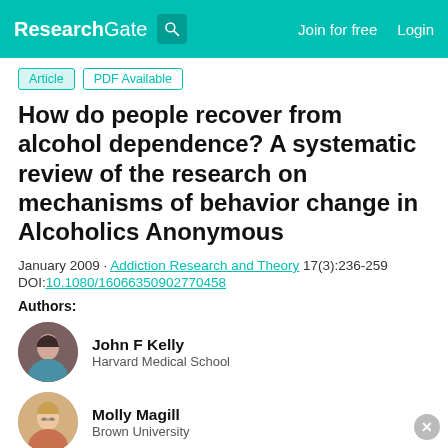ResearchGate  Join for free  Login
Article  PDF Available
How do people recover from alcohol dependence? A systematic review of the research on mechanisms of behavior change in Alcoholics Anonymous
January 2009 · Addiction Research and Theory 17(3):236-259
DOI:10.1080/16066350902770458
Authors:
John F Kelly
Harvard Medical School
Molly Magill
Brown University
Advertisement